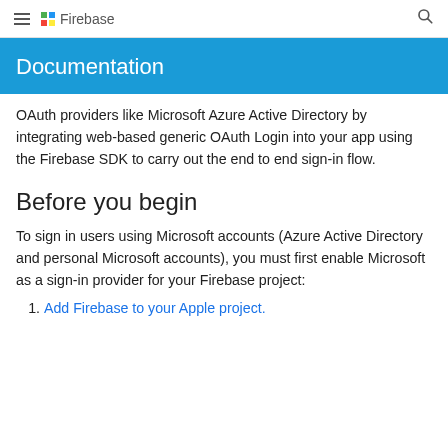Firebase
Documentation
OAuth providers like Microsoft Azure Active Directory by integrating web-based generic OAuth Login into your app using the Firebase SDK to carry out the end to end sign-in flow.
Before you begin
To sign in users using Microsoft accounts (Azure Active Directory and personal Microsoft accounts), you must first enable Microsoft as a sign-in provider for your Firebase project:
1. Add Firebase to your Apple project.